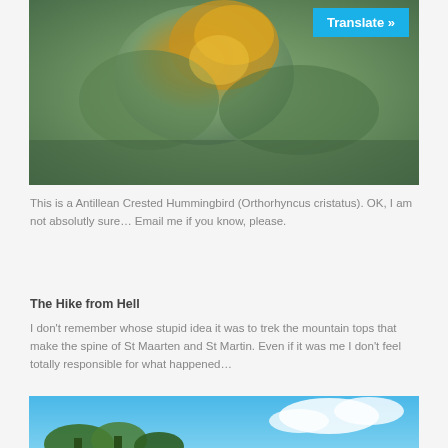[Figure (photo): Close-up blurred photo of an Antillean Crested Hummingbird with green and orange-yellow coloring]
This is a Antillean Crested Hummingbird (Orthorhyncus cristatus). OK, I am not absolutly sure… Email me if you know, please.
The Hike from Hell
I don't remember whose stupid idea it was to trek the mountain tops that make the spine of St Maarten and St Martin. Even if it was me I don't feel totally responsible for what happened…
[Figure (photo): Partial photo of trees against a blue sky, partially cropped at bottom of page]